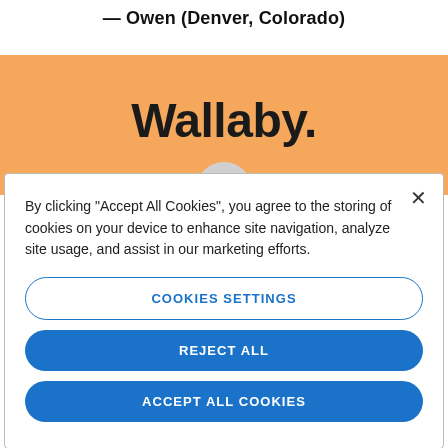— Owen (Denver, Colorado)
[Figure (logo): Wallaby logo in bold black text on an orange background band]
By clicking "Accept All Cookies", you agree to the storing of cookies on your device to enhance site navigation, analyze site usage, and assist in our marketing efforts.
COOKIES SETTINGS
REJECT ALL
ACCEPT ALL COOKIES